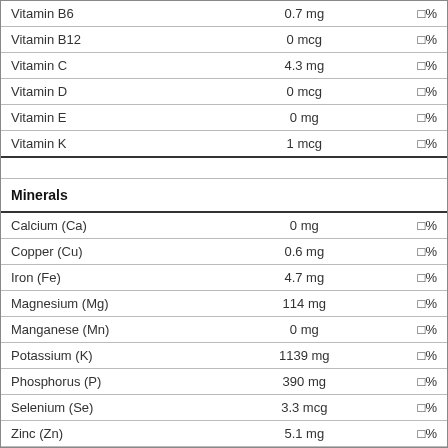| Nutrient | Amount | %DV |
| --- | --- | --- |
| Vitamin B6 | 0.7 mg | □% |
| Vitamin B12 | 0 mcg | □% |
| Vitamin C | 4.3 mg | □% |
| Vitamin D | 0 mcg | □% |
| Vitamin E | 0 mg | □% |
| Vitamin K | 1 mcg | □% |
| Minerals |  |  |
| Calcium (Ca) | 0 mg | □% |
| Copper (Cu) | 0.6 mg | □% |
| Iron (Fe) | 4.7 mg | □% |
| Magnesium (Mg) | 114 mg | □% |
| Manganese (Mn) | 0 mg | □% |
| Potassium (K) | 1139 mg | □% |
| Phosphorus (P) | 390 mg | □% |
| Selenium (Se) | 3.3 mcg | □% |
| Zinc (Zn) | 5.1 mg | □% |